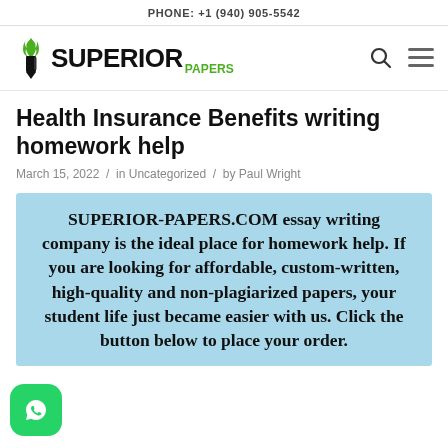PHONE: +1 (940) 905-5542
[Figure (logo): Superior Papers logo with pen/torch icon, 'SUPERIOR' in bold black, 'PAPERS' in green, plus search and hamburger menu icons]
Health Insurance Benefits writing homework help
March 15, 2022 / in Uncategorized / by Paul Wright
SUPERIOR-PAPERS.COM essay writing company is the ideal place for homework help. If you are looking for affordable, custom-written, high-quality and non-plagiarized papers, your student life just became easier with us. Click the button below to place your order.